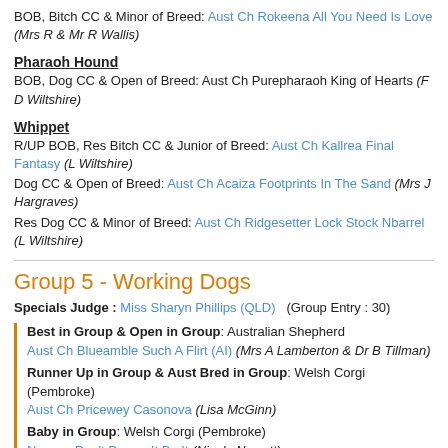BOB, Bitch CC & Minor of Breed: Aust Ch Rokeena All You Need Is Love (Mrs R & Mr R Wallis)
Pharaoh Hound
BOB, Dog CC & Open of Breed: Aust Ch Purepharaoh King of Hearts (F D Wiltshire)
Whippet
R/UP BOB, Res Bitch CC & Junior of Breed: Aust Ch Kallrea Final Fantasy (L Wiltshire)
Dog CC & Open of Breed: Aust Ch Acaiza Footprints In The Sand (Mrs J Hargraves)
Res Dog CC & Minor of Breed: Aust Ch Ridgesetter Lock Stock Nbarrel (L Wiltshire)
Group 5 - Working Dogs
Specials Judge : Miss Sharyn Phillips (QLD)  (Group Entry : 30)
Best in Group & Open in Group: Australian Shepherd
Aust Ch Blueamble Such A Flirt (AI) (Mrs A Lamberton & Dr B Tillman)
Runner Up in Group & Aust Bred in Group: Welsh Corgi (Pembroke)
Aust Ch Pricewey Casonova (Lisa McGinn)
Baby in Group: Welsh Corgi (Pembroke)
Newpry Don't Dream It Be It (Nicole Newett)